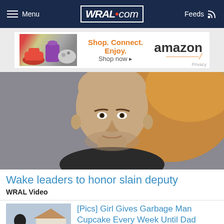Menu | WRAL.com | Feeds
[Figure (screenshot): Amazon advertisement banner: Shop. Connect. Enjoy. Shop now. Amazon logo with smile. Privacy link.]
[Figure (photo): Headshot photo of a bald man wearing a dark shirt, looking at the camera with a neutral expression. Blurred orange/yellow background.]
Wake leaders to honor slain deputy
WRAL Video
[Figure (photo): Thumbnail photo showing a person outdoors near a house with a pink object on the ground.]
[Pics] Girl Gives Garbage Man Cupcake Every Week Until Dad Follows Him And Finds Out Why